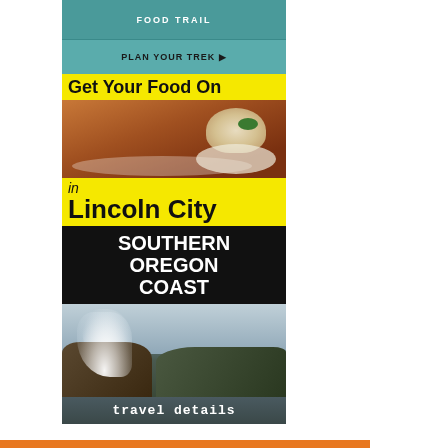FOOD TRAIL
PLAN YOUR TREK ▶
Get Your Food On
[Figure (photo): Photo of roasted potatoes and biscuit with green herb garnish on a white plate]
in Lincoln City
SOUTHERN OREGON COAST
[Figure (photo): Photo of ocean waves crashing with white spray against rocky coastal cliffs, cloudy sky]
travel details